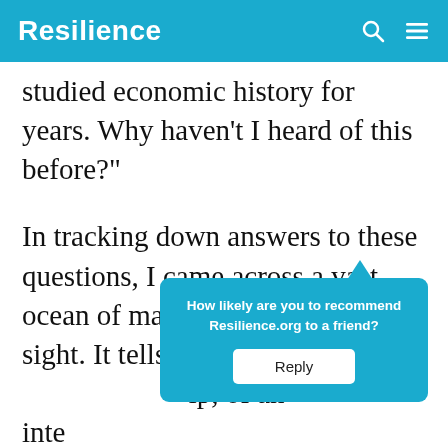Resilience
studied economic history for years. Why haven't I heard of this before?"
In tracking down answers to these questions, I came across a vast ocean of material, hidden in plain sight. It tells a story of… help, of an inte… lasting… e
[Figure (other): Popup overlay with text 'How likely are you to recommend Resilience.org to a friend?' and a Reply button]